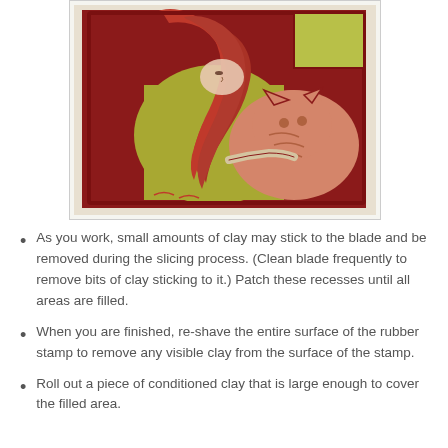[Figure (photo): A linocut or rubber stamp artwork showing a woman with flowing red wavy hair bending down toward an orange tabby cat, rendered in red and yellow-green colors on a dark red background. The artwork is displayed on a light speckled surface and has a photo border.]
As you work, small amounts of clay may stick to the blade and be removed during the slicing process. (Clean blade frequently to remove bits of clay sticking to it.) Patch these recesses until all areas are filled.
When you are finished, re-shave the entire surface of the rubber stamp to remove any visible clay from the surface of the stamp.
Roll out a piece of conditioned clay that is large enough to cover the filled area.